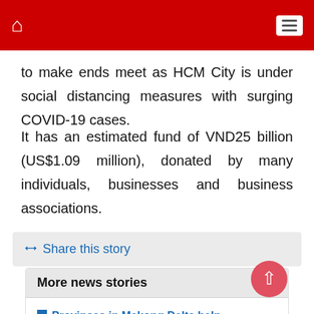Home | Menu
to make ends meet as HCM City is under social distancing measures with surging COVID-19 cases.
It has an estimated fund of VND25 billion (US$1.09 million), donated by many individuals, businesses and business associations.
Share this story
More news stories
Provinces in Mekong Delta help businesses maintain production (Aug 18, 2021 21:42:15)
Ca Mau eyes annual growth of 8% in agricultural exports (Aug 18, 2021 18:45:26)